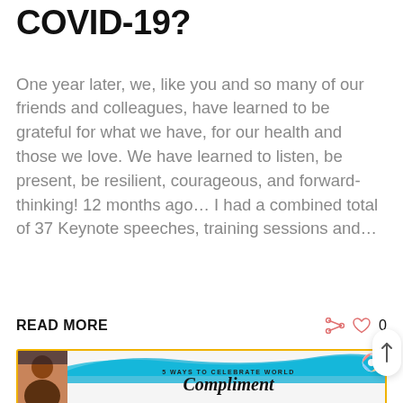COVID-19?
One year later, we, like you and so many of our friends and colleagues, have learned to be grateful for what we have, for our health and those we love. We have learned to listen, be present, be resilient, courageous, and forward-thinking!  12 months ago… I had a combined total of 37 Keynote speeches, training sessions and…
READ MORE
[Figure (illustration): Promotional card with yellow border showing '5 WAYS TO CELEBRATE WORLD Compliment' text, a woman's photo on the left, a blue brush stroke, and a colorful lollipop on the upper right.]